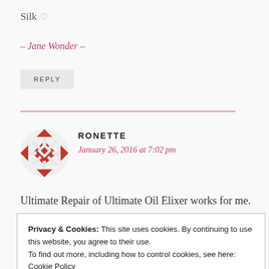Silk ♡
– Jane Wonder –
REPLY
RONETTE
January 26, 2016 at 7:02 pm
Ultimate Repair of Ultimate Oil Elixer works for me.
Privacy & Cookies: This site uses cookies. By continuing to use this website, you agree to their use.
To find out more, including how to control cookies, see here: Cookie Policy
Close and accept